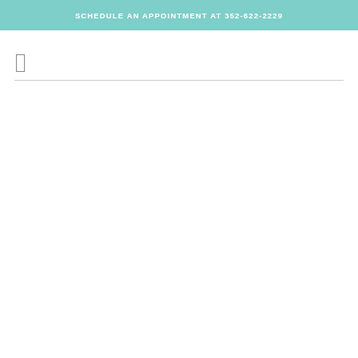SCHEDULE AN APPOINTMENT AT 352-622-2229
[Figure (other): Small outlined rectangle/box element below header]